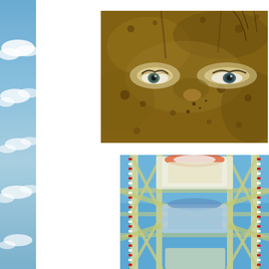[Figure (photo): Vertical strip of blue sky with white clouds on the left edge of the page]
[Figure (photo): Close-up photo of a person's eyes and face covered in mud]
[Figure (photo): Close-up photo of a Ferris wheel structure with red and white lights against blue sky]